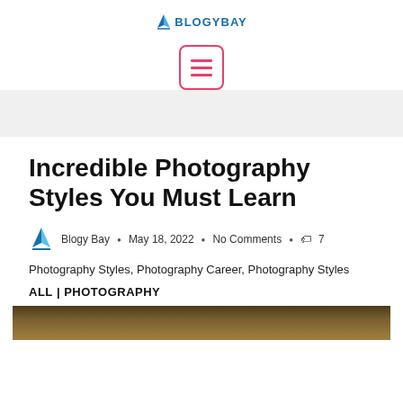BlogyBay
[Figure (illustration): Hamburger menu icon with three horizontal lines inside a rounded square border in pink/red color]
Incredible Photography Styles You Must Learn
Blogy Bay • May 18, 2022 • No Comments • 🏷 7
Photography Styles, Photography Career, Photography Styles
ALL | PHOTOGRAPHY
[Figure (photo): Partial bottom edge of a photograph showing a dark brown/golden outdoor scene]